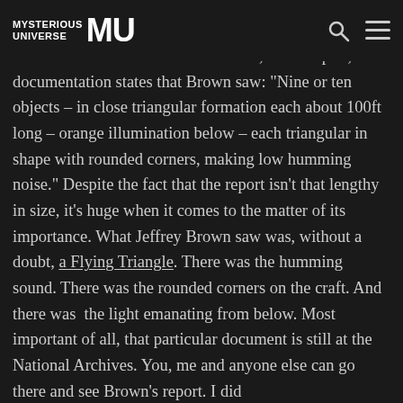MYSTERIOUS UNIVERSE MU
was on the moors of North Yorkshire, U.K. In part, the documentation states that Brown saw: "Nine or ten objects – in close triangular formation each about 100ft long – orange illumination below – each triangular in shape with rounded corners, making low humming noise." Despite the fact that the report isn't that lengthy in size, it's huge when it comes to the matter of its importance. What Jeffrey Brown saw was, without a doubt, a Flying Triangle. There was the humming sound. There was the rounded corners on the craft. And there was  the light emanating from below. Most important of all, that particular document is still at the National Archives. You, me and anyone else can go there and see Brown's report. I did